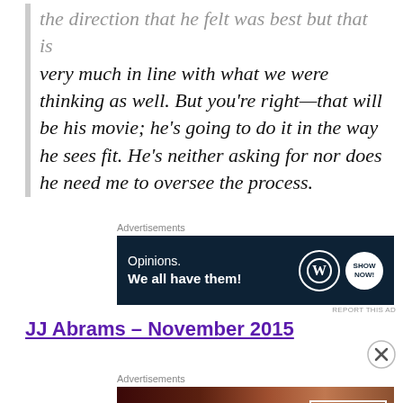very much in line with what we were thinking as well. But you're right—that will be his movie; he's going to do it in the way he sees fit. He's neither asking for nor does he need me to oversee the process.
Advertisements
[Figure (screenshot): Dark navy advertisement banner reading 'Opinions. We all have them!' with WordPress and another circular logo on the right]
REPORT THIS AD
JJ Abrams – November 2015
Advertisements
[Figure (screenshot): Red/brown advertisement banner reading 'KISS BORING LIPS GOODBYE' with a woman's face and Macy's SHOP NOW button]